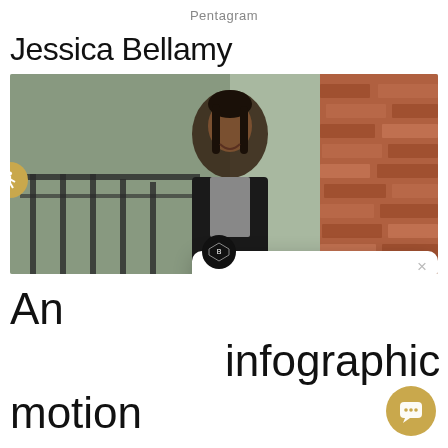Pentagram
Jessica Bellamy
[Figure (photo): Portrait photo of Jessica Bellamy, a young Black woman with braided hair, wearing a black cardigan over a patterned top, smiling and standing next to a brick wall with a waterfront background. A chat popup and accessibility button overlay the image.]
An

motion
designer,

infographic
speaker,